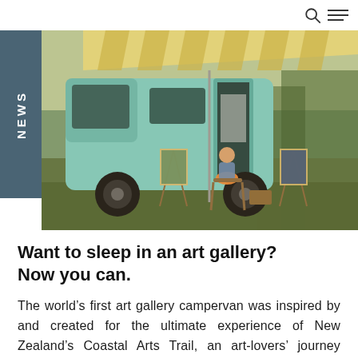NEWS
[Figure (photo): A teal/mint-coloured campervan parked on grass with its awning open. A person sits in a wooden deck chair in front of the van. Paintings and artworks are displayed on easels outside the van. Sunny outdoor setting with trees in the background.]
Want to sleep in an art gallery? Now you can.
The world's first art gallery campervan was inspired by and created for the ultimate experience of New Zealand's Coastal Arts Trail, an art-lovers' journey through the Manawatū,